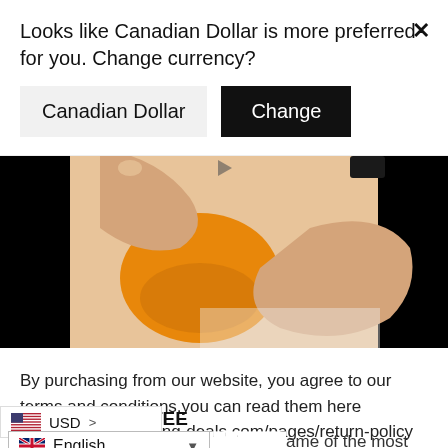Looks like Canadian Dollar is more preferred for you. Change currency?
[Figure (screenshot): Screenshot of a video player showing hands holding an orange object with a small device, black borders on left and right sides.]
By purchasing from our website, you agree to our terms and conditions,you can read them here https://daily-shopping-deals.com/pages/return-policy
OUR GUARANTEE
We ame of the most innovative